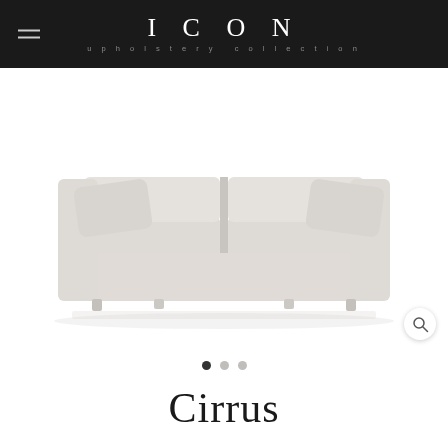ICON upholstery collection
[Figure (photo): Light grey fabric sofa (Cirrus model) with two seat cushions, two back pillows angled on each side, and small feet. Photographed in a clean white studio environment with subtle floor reflection. A circular magnifier/zoom icon appears in the bottom right corner.]
• • •
Cirrus